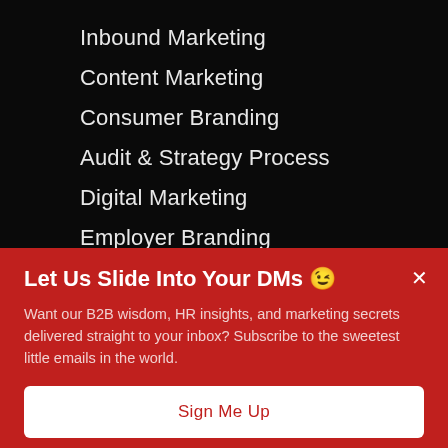Inbound Marketing
Content Marketing
Consumer Branding
Audit & Strategy Process
Digital Marketing
Employer Branding
Let Us Slide Into Your DMs 😉
Want our B2B wisdom, HR insights, and marketing secrets delivered straight to your inbox? Subscribe to the sweetest little emails in the world.
Sign Me Up